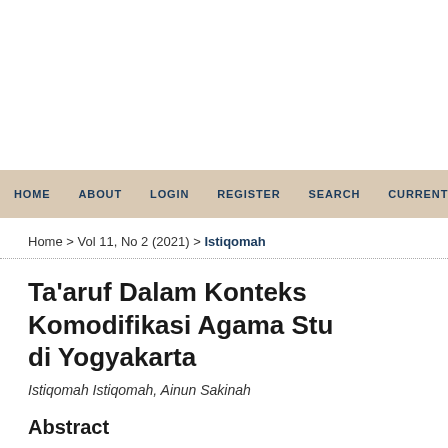HOME   ABOUT   LOGIN   REGISTER   SEARCH   CURRENT   ARCH
Home > Vol 11, No 2 (2021) > Istiqomah
Ta'aruf Dalam Konteks Komodifikasi Agama Stu di Yogyakarta
Istiqomah Istiqomah, Ainun Sakinah
Abstract